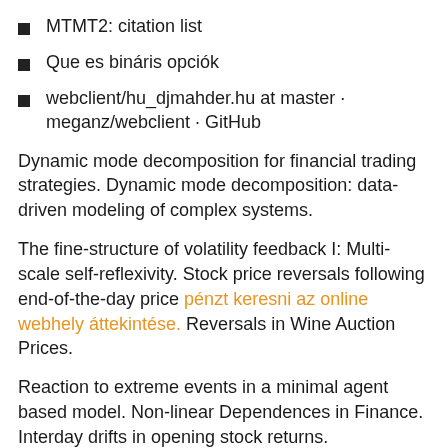MTMT2: citation list
Que es bináris opciók
webclient/hu_djmahder.hu at master · meganz/webclient · GitHub
Dynamic mode decomposition for financial trading strategies. Dynamic mode decomposition: data-driven modeling of complex systems.
The fine-structure of volatility feedback I: Multi-scale self-reflexivity. Stock price reversals following end-of-the-day price pénzt keresni az online webhely áttekintése. Reversals in Wine Auction Prices.
Reaction to extreme events in a minimal agent based model. Non-linear Dependences in Finance. Interday drifts in opening stock returns.